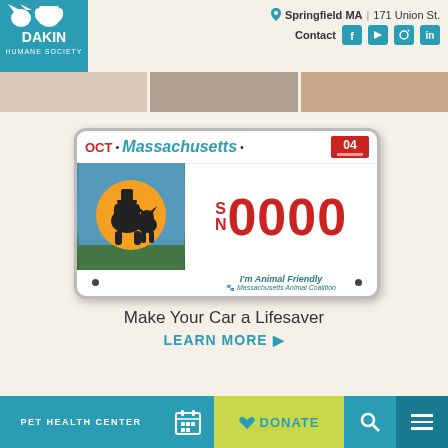[Figure (logo): Dakin Humane Society logo - teal/blue background with cat, heart, dog silhouettes and text DAKIN HUMANE SOCIETY]
Springfield MA  |  171 Union St.
Contact
[Figure (photo): Photo strip showing animals - cats and dogs]
[Figure (photo): Massachusetts animal-friendly license plate reading: OCT • Massachusetts • 04 / SN 0000 / I'm Animal Friendly / Massachusetts Animal Coalition]
Make Your Car a Lifesaver
LEARN MORE ▶
PET HEALTH CENTER
DONATE